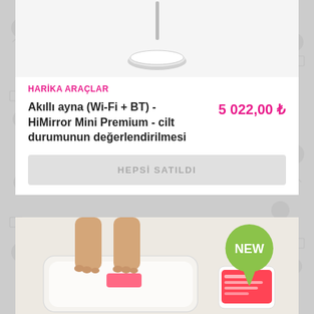[Figure (photo): Smart mirror product image on white background, showing mirror base/stand from top]
HARİKA ARAÇLAR
Akıllı ayna (Wi-Fi + BT) - HiMirror Mini Premium - cilt durumunun değerlendirilmesi
5 022,00 ₺
HEPSİ SATILDI
[Figure (photo): Person standing on a white smart scale/body composition scale, with a smartphone showing an app nearby, and a green NEW speech bubble badge in the top right corner]